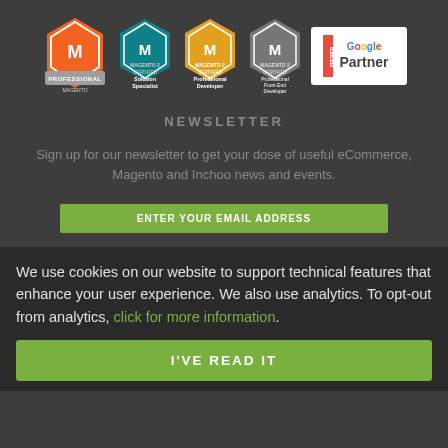[Figure (logo): Row of certification badges: Magento Solution Partner Professional, Magento 2 Certified Solution Specialist, Magento 2 Certified Professional Developer, Magento 2 Certified Professional Front End Developer, and Google Premier Partner]
NEWSLETTER
Sign up for our newsletter to get your dose of useful eCommerce, Magento and Inchoo news and events.
We use cookies on our website to support technical features that enhance your user experience. We also use analytics. To opt-out from analytics, click for more information.
I'VE READ IT